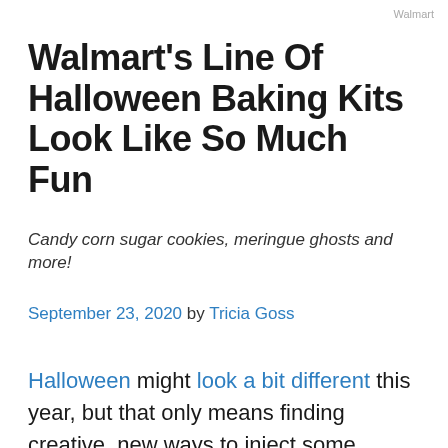Walmart
Walmart's Line Of Halloween Baking Kits Look Like So Much Fun
Candy corn sugar cookies, meringue ghosts and more!
September 23, 2020 by Tricia Goss
Halloween might look a bit different this year, but that only means finding creative, new ways to inject some spooky fun into your family's